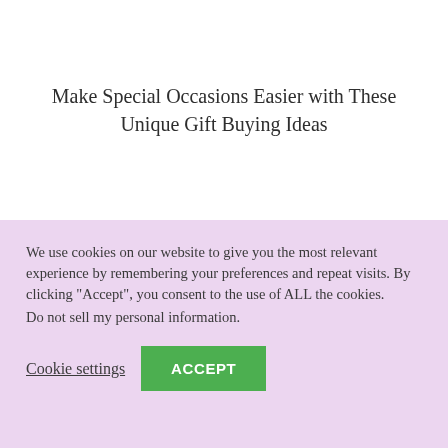Make Special Occasions Easier with These Unique Gift Buying Ideas
We use cookies on our website to give you the most relevant experience by remembering your preferences and repeat visits. By clicking "Accept", you consent to the use of ALL the cookies.
Do not sell my personal information.
Cookie settings   ACCEPT